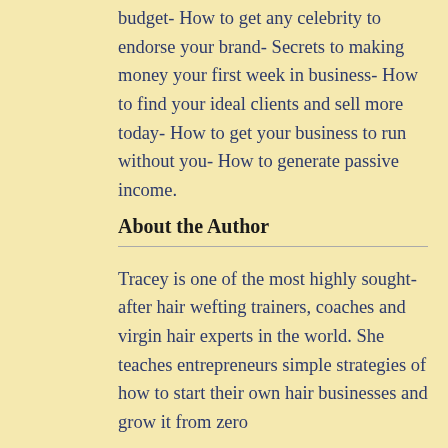budget- How to get any celebrity to endorse your brand- Secrets to making money your first week in business- How to find your ideal clients and sell more today- How to get your business to run without you- How to generate passive income.
About the Author
Tracey is one of the most highly sought-after hair wefting trainers, coaches and virgin hair experts in the world. She teaches entrepreneurs simple strategies of how to start their own hair businesses and grow it from zero